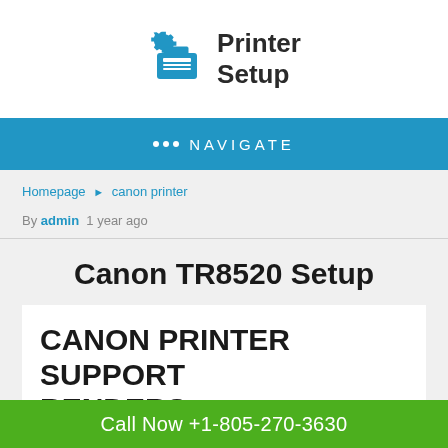[Figure (logo): Printer Setup logo with gear and printer icon on the left, text 'Printer Setup' on the right]
••• NAVIGATE
Homepage ▸ canon printer
By admin 1 year ago
Canon TR8520 Setup
CANON PRINTER SUPPORT RENDERS UNPRECEDENTED
Call Now +1-805-270-3630